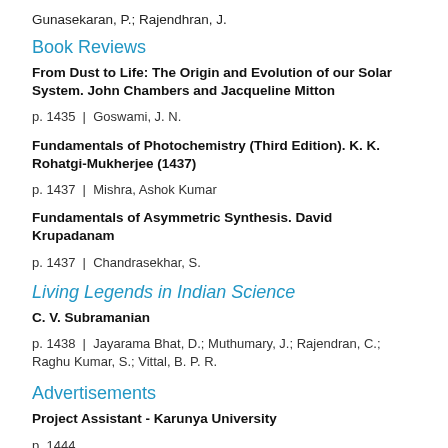Gunasekaran, P.; Rajendhran, J.
Book Reviews
From Dust to Life: The Origin and Evolution of our Solar System. John Chambers and Jacqueline Mitton
p. 1435 | Goswami, J. N.
Fundamentals of Photochemistry (Third Edition). K. K. Rohatgi-Mukherjee (1437)
p. 1437 | Mishra, Ashok Kumar
Fundamentals of Asymmetric Synthesis. David Krupadanam
p. 1437 | Chandrasekhar, S.
Living Legends in Indian Science
C. V. Subramanian
p. 1438 | Jayarama Bhat, D.; Muthumary, J.; Rajendran, C.; Raghu Kumar, S.; Vittal, B. P. R.
Advertisements
Project Assistant - Karunya University
p. 1444